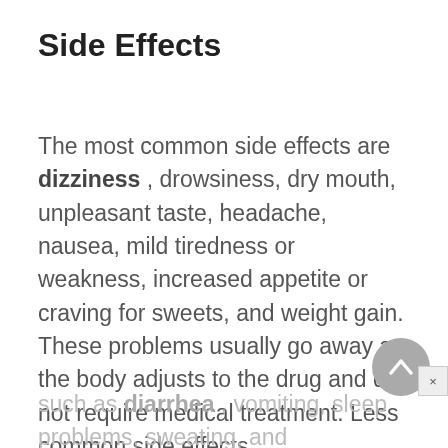Side Effects
The most common side effects are dizziness , drowsiness, dry mouth, unpleasant taste, headache, nausea, mild tiredness or weakness, increased appetite or craving for sweets, and weight gain. These problems usually go away as the body adjusts to the drug and do not require medical treatment. Less common side effects,
such as diarrhea , vomiting, sleep problems, sweating, and heartburn...